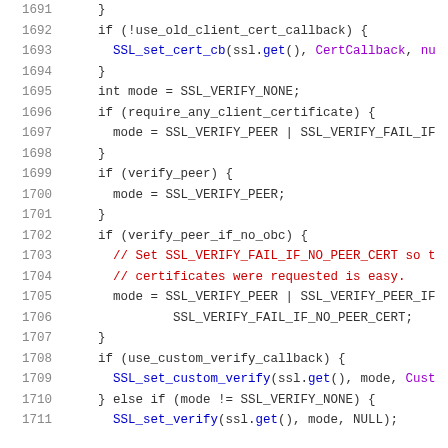[Figure (screenshot): Source code snippet showing C++ SSL/TLS configuration code, lines 1691-1711, with syntax highlighting: line numbers in gray, keywords in black, function names in blue, comments in red, constants/identifiers in purple.]